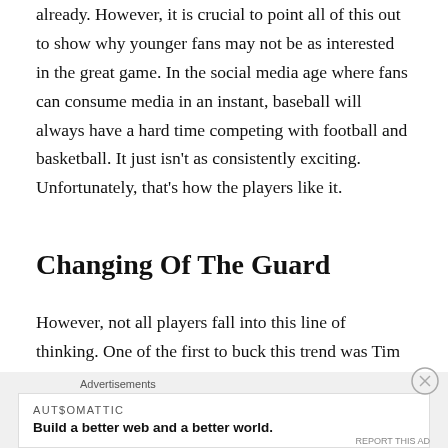already. However, it is crucial to point all of this out to show why younger fans may not be as interested in the great game. In the social media age where fans can consume media in an instant, baseball will always have a hard time competing with football and basketball. It just isn't as consistently exciting. Unfortunately, that's how the players like it.
Changing Of The Guard
However, not all players fall into this line of thinking. One of the first to buck this trend was Tim Anderson. Although his basketball playing days are in the past, it
Advertisements
[Figure (other): Automattic advertisement banner: 'Build a better web and a better world.']